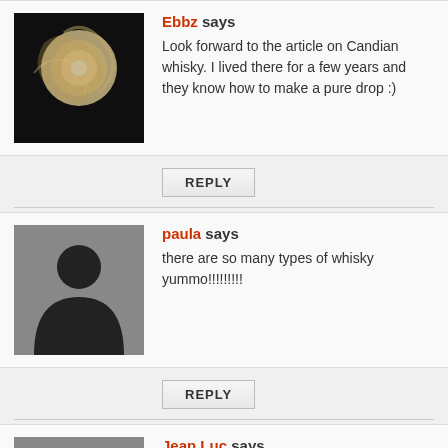Ebbz says
Look forward to the article on Candian whisky. I lived there for a few years and they know how to make a pure drop :)
REPLY
paula says
there are so many types of whisky yummo!!!!!!!!!
REPLY
Jean Luc says
Whisky is a drink best served chilled! Absolutely the best.
REPLY